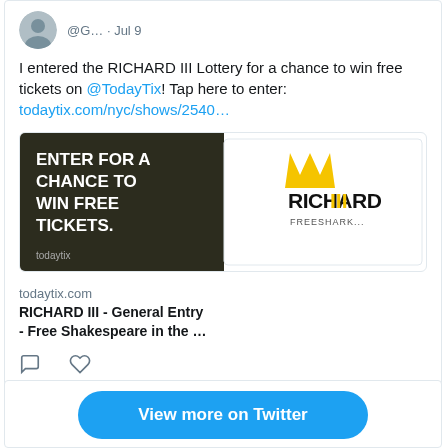@G… · Jul 9
I entered the RICHARD III Lottery for a chance to win free tickets on @TodayTix! Tap here to enter: todaytix.com/nyc/shows/2540…
[Figure (screenshot): Promotional image with dark background on left reading 'ENTER FOR A CHANCE TO WIN FREE TICKETS. todaytix' and white panel on right with 'RICHARD III FREESHARK...' logo in yellow and black]
todaytix.com
RICHARD III - General Entry - Free Shakespeare in the …
View more on Twitter